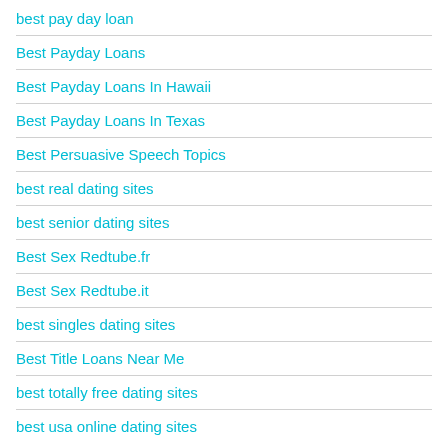best pay day loan
Best Payday Loans
Best Payday Loans In Hawaii
Best Payday Loans In Texas
Best Persuasive Speech Topics
best real dating sites
best senior dating sites
Best Sex Redtube.fr
Best Sex Redtube.it
best singles dating sites
Best Title Loans Near Me
best totally free dating sites
best usa online dating sites